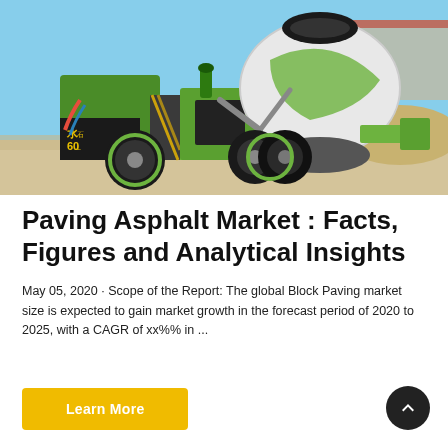[Figure (photo): A green self-loading concrete mixer truck on a construction site with sandy ground and industrial buildings in the background under a blue sky.]
Paving Asphalt Market : Facts, Figures and Analytical Insights
May 05, 2020 · Scope of the Report: The global Block Paving market size is expected to gain market growth in the forecast period of 2020 to 2025, with a CAGR of xx%% in ...